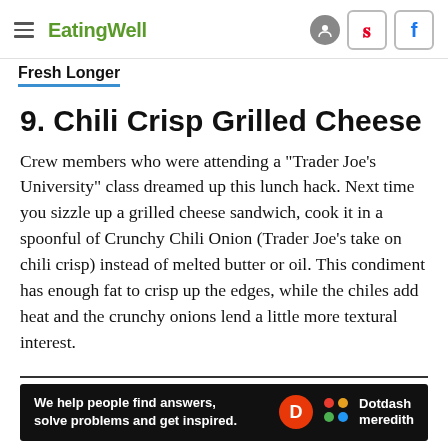EatingWell
Fresh Longer
9. Chili Crisp Grilled Cheese
Crew members who were attending a "Trader Joe's University" class dreamed up this lunch hack. Next time you sizzle up a grilled cheese sandwich, cook it in a spoonful of Crunchy Chili Onion (Trader Joe's take on chili crisp) instead of melted butter or oil. This condiment has enough fat to crisp up the edges, while the chiles add heat and the crunchy onions lend a little more textural interest.
[Figure (other): Dotdash Meredith advertisement banner: 'We help people find answers, solve problems and get inspired.' with Dotdash Meredith logo on black background.]